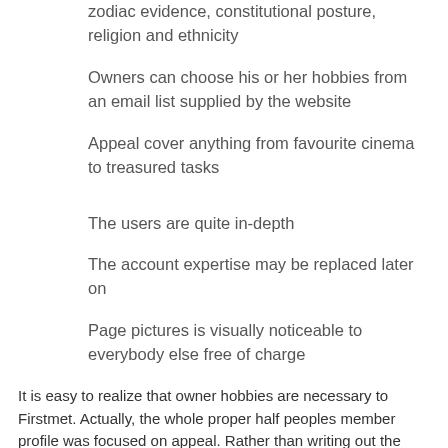zodiac evidence, constitutional posture, religion and ethnicity
Owners can choose his or her hobbies from an email list supplied by the website
Appeal cover anything from favourite cinema to treasured tasks
The users are quite in-depth
The account expertise may be replaced later on
Page pictures is visually noticeable to everybody else free of charge
It is easy to realize that owner hobbies are necessary to Firstmet. Actually, the whole proper half peoples member profile was focused on appeal. Rather than writing out the pursuits, it is possible to pick a long list of literature, motion pictures, work, audio and various sights. These grow to be search phrases